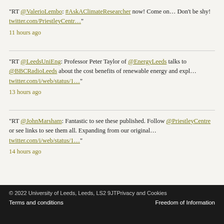"RT @ValerioLembo: #AskAClimateResearcher now! Come on… Don't be shy! twitter.com/PriestleyCentr..."
11 hours ago
"RT @LeedsUniEng: Professor Peter Taylor of @EnergyLeeds talks to @BBCRadioLeeds about the cost benefits of renewable energy and expl… twitter.com/i/web/status/1..."
13 hours ago
"RT @JohnMarsham: Fantastic to see these published. Follow @PriestleyCentre or see links to see them all. Expanding from our original… twitter.com/i/web/status/1..."
14 hours ago
© 2022 University of Leeds, Leeds, LS2 9JT Privacy and Cookies | Terms and conditions | Freedom of Information